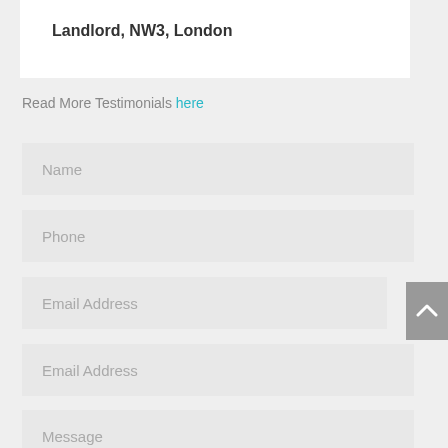Landlord, NW3, London
Read More Testimonials here
Name
Phone
Email Address
Email Address
Message